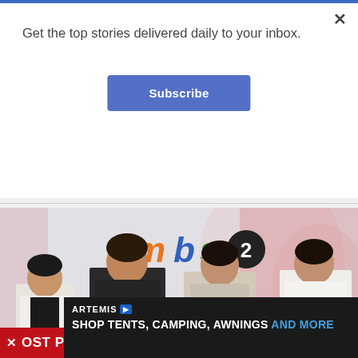Get the top stories delivered daily to your inbox.
Subscribe
[Figure (photo): Group photo of four people standing in front of an 'ambs2' logo backdrop. From left: a woman in a white blazer, a man in a dark shirt, a woman in a beige top, and a man in a white long-sleeve shirt.]
OST POPULAR
ARTEMIS - SHOP TENTS, CAMPING, AWNINGS AND MORE